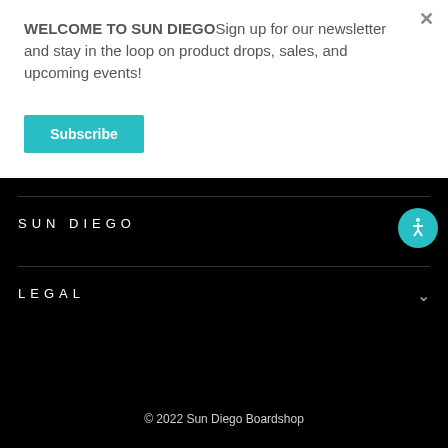WELCOME TO SUN DIEGOSign up for our newsletter and stay in the loop on product drops, sales, and upcoming events!
Subscribe
SUN DIEGO
LEGAL
© 2022 Sun Diego Boardshop